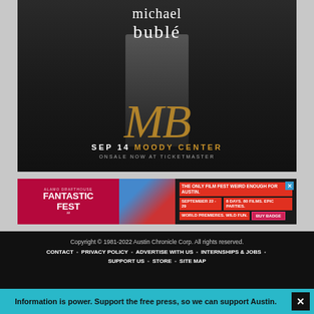[Figure (illustration): Michael Bublé concert advertisement. Black and white photo of a man in a suit on a road with golden MB monogram letters. Text reads: michael bublé, SEP 14 MOODY CENTER, ONSALE NOW AT TICKETMASTER]
[Figure (illustration): Fantastic Fest advertisement banner. Alamo Drafthouse Fantastic Fest 22 event. THE ONLY FILM FEST WEIRD ENOUGH FOR AUSTIN. SEPTEMBER 22-29. 8 DAYS. 80 FILMS. EPIC PARTIES. WORLD PREMIERES. WILD FUN. BUY BADGE]
Copyright © 1981-2022 Austin Chronicle Corp. All rights reserved.
CONTACT • PRIVACY POLICY • ADVERTISE WITH US • INTERNSHIPS & JOBS • SUPPORT US • STORE • SITE MAP
Information is power. Support the free press, so we can support Austin.
SUPPORT THE CHRONICLE →